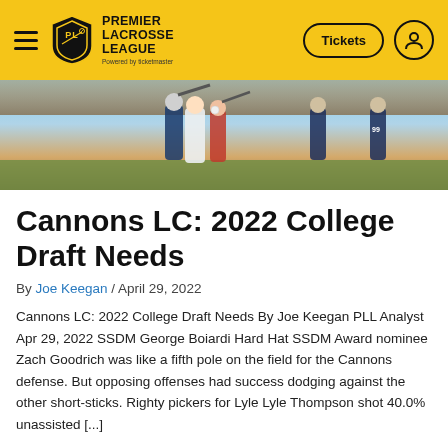Premier Lacrosse League — Tickets [navigation header]
[Figure (photo): Hero image of lacrosse players in action, colorful uniforms, crowd in background]
Cannons LC: 2022 College Draft Needs
By Joe Keegan / April 29, 2022
Cannons LC: 2022 College Draft Needs By Joe Keegan PLL Analyst Apr 29, 2022 SSDM George Boiardi Hard Hat SSDM Award nominee Zach Goodrich was like a fifth pole on the field for the Cannons defense. But opposing offenses had success dodging against the other short-sticks. Righty pickers for Lyle Lyle Thompson shot 40.0% unassisted [...]